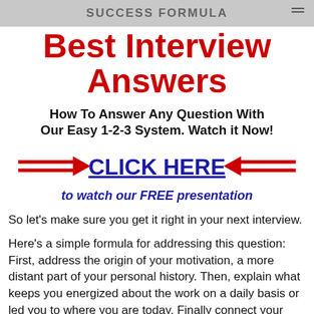SUCCESS FORMULA
Best Interview Answers
How To Answer Any Question With Our Easy 1-2-3 System. Watch it Now!
CLICK HERE to watch our FREE presentation
So let's make sure you get it right in your next interview.
Here's a simple formula for addressing this question: First, address the origin of your motivation, a more distant part of your personal history. Then, explain what keeps you energized about the work on a daily basis or led you to where you are today. Finally connect your story and motivation to this job, the one you are interviewing for.